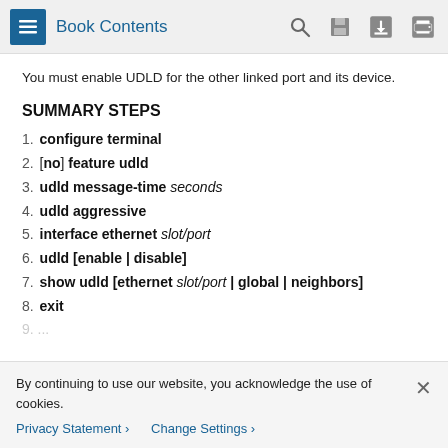Book Contents
You must enable UDLD for the other linked port and its device.
SUMMARY STEPS
1. configure terminal
2. [no] feature udld
3. udld message-time seconds
4. udld aggressive
5. interface ethernet slot/port
6. udld [enable | disable]
7. show udld [ethernet slot/port | global | neighbors]
8. exit
By continuing to use our website, you acknowledge the use of cookies.
Privacy Statement > Change Settings >